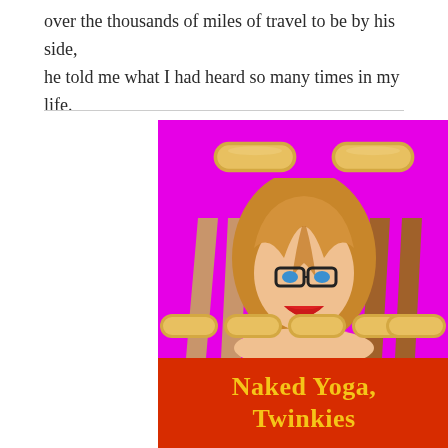over the thousands of miles of travel to be by his side, he told me what I had heard so many times in my life.
[Figure (illustration): Book cover for 'Naked Yoga, Twinkies' showing a blonde woman with glasses and red lipstick on a magenta background, surrounded by illustrated legs raised up holding Twinkie snack cakes, with a red banner at the bottom displaying the title in yellow bold text.]